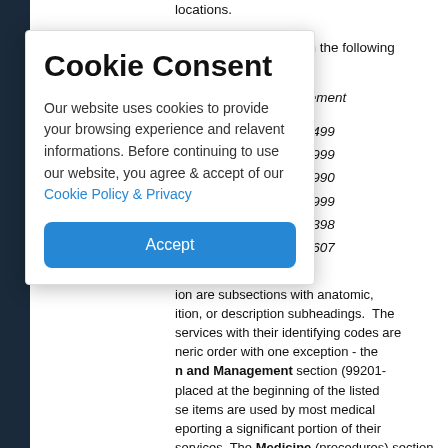locations.
f the material is listed in the following
/ Management
| sia | 99201-99499 |
|  | 00100-01999 |
|  | 10040-69990 |
| / | 70010-79999 |
| / | 80048-89398 |
|  | 90281-99607 |
ion are subsections with anatomic, ition, or description subheadings. The services with their identifying codes are neric order with one exception - the n and Management section (99201- placed at the beginning of the listed se items are used by most medical eporting a significant portion of their services. The Medicine (procedures) section follows on
Cookie Consent

Our website uses cookies to provide your browsing experience and relavent informations. Before continuing to use our website, you agree & accept of our Cookie Policy & Privacy

Accept